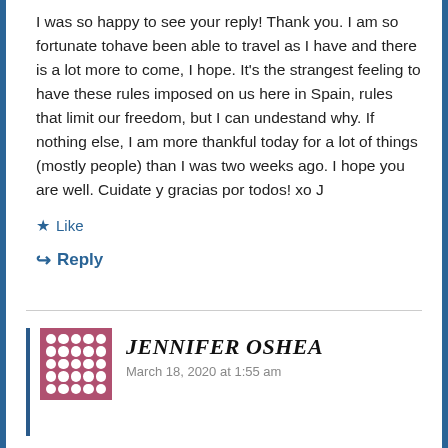I was so happy to see your reply! Thank you. I am so fortunate tohave been able to travel as I have and there is a lot more to come, I hope. It's the strangest feeling to have these rules imposed on us here in Spain, rules that limit our freedom, but I can undestand why. If nothing else, I am more thankful today for a lot of things (mostly people) than I was two weeks ago. I hope you are well. Cuidate y gracias por todos! xo J
Like
Reply
JENNIFER OSHEA
March 18, 2020 at 1:55 am